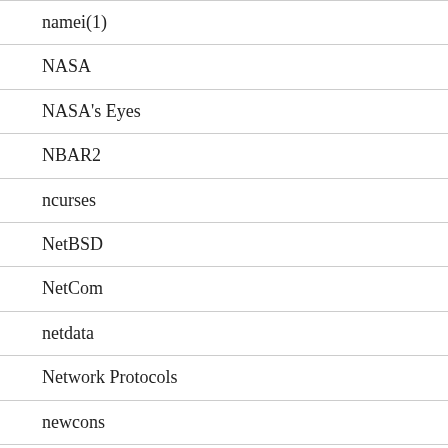namei(1)
NASA
NASA's Eyes
NBAR2
ncurses
NetBSD
NetCom
netdata
Network Protocols
newcons